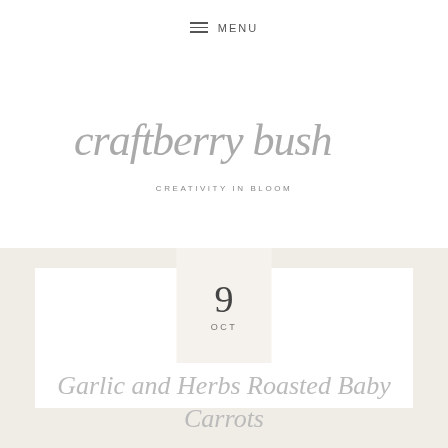MENU
[Figure (logo): Craftberry Bush cursive script logo with tagline CREATIVITY IN BLOOM]
9
OCT
Garlic and Herbs Roasted Baby Carrots